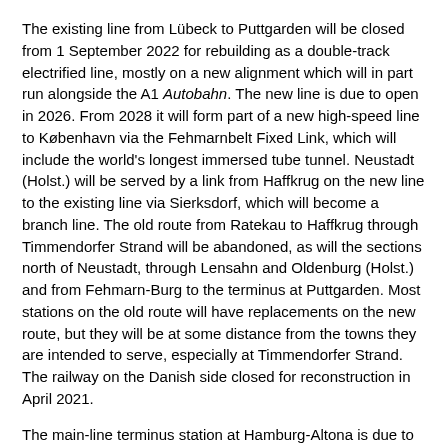The existing line from Lübeck to Puttgarden will be closed from 1 September 2022 for rebuilding as a double-track electrified line, mostly on a new alignment which will in part run alongside the A1 Autobahn. The new line is due to open in 2026. From 2028 it will form part of a new high-speed line to København via the Fehmarnbelt Fixed Link, which will include the world's longest immersed tube tunnel. Neustadt (Holst.) will be served by a link from Haffkrug on the new line to the existing line via Sierksdorf, which will become a branch line. The old route from Ratekau to Haffkrug through Timmendorfer Strand will be abandoned, as will the sections north of Neustadt, through Lensahn and Oldenburg (Holst.) and from Fehmarn-Burg to the terminus at Puttgarden. Most stations on the old route will have replacements on the new route, but they will be at some distance from the towns they are intended to serve, especially at Timmendorfer Strand. The railway on the Danish side closed for reconstruction in April 2021.
The main-line terminus station at Hamburg-Altona is due to close with a replacement through station being built roughly on the site of the current Diebsteich S-Bahn station. The low-level S-Bahn station at Altona will remain. S-Bahn services will not serve Diebsteich for one year from October 2022. According to the project website the planned opening date of the new Altona main-line station is 2027.
There have been numerous deviations of railways to allow open-cast mining. There has been a proposal for significant re-routing of the Görlitz to Cottbus line, which would involve the closure of around 10km of the